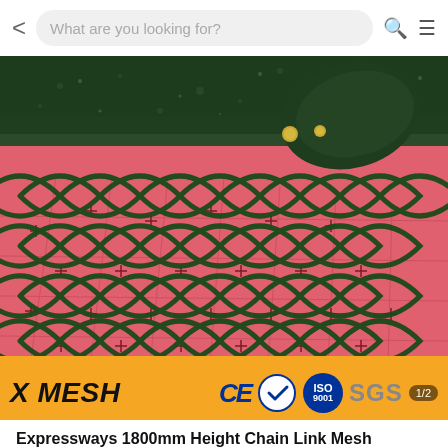What are you looking for?
[Figure (photo): Close-up photo of dark green PVC-coated chain link mesh fencing laid over a pink/red patterned surface, with a green metal pipe/post visible at the top. The diamond-pattern wire links are clearly visible.]
X MESH  CE  ISO 9001  SGS  1/2
Expressways 1800mm Height Chain Link Mesh